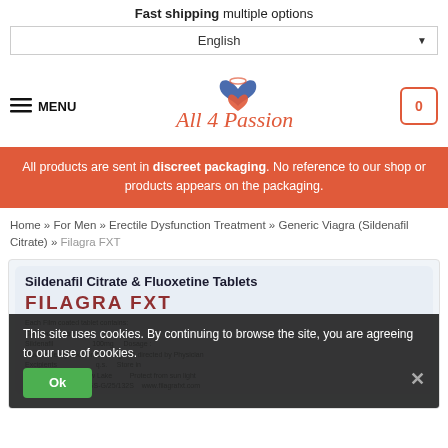Fast shipping multiple options
English ▼
[Figure (logo): All 4 Passion logo with heart and wing icon in red and blue, cursive text]
≡ MENU
0 (cart icon)
All products are sent in discreet packaging. No reference to our shop or products appears on the packaging.
Home » For Men » Erectile Dysfunction Treatment » Generic Viagra (Sildenafil Citrate) » Filagra FXT
[Figure (photo): Product image of Sildenafil Citrate & Fluoxetine Tablets Filagra FXT blister pack with ingredient details]
This site uses cookies. By continuing to browse the site, you are agreeing to our use of cookies. Ok